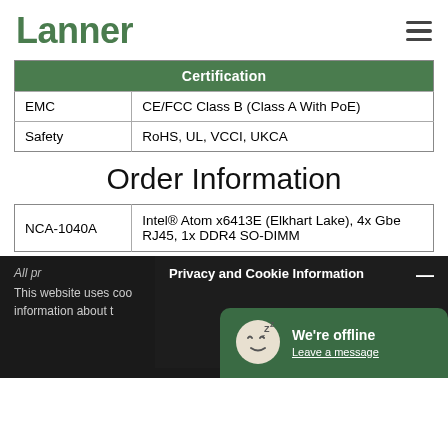Lanner
| Certification |
| --- |
| EMC | CE/FCC Class B (Class A With PoE) |
| Safety | RoHS, UL, VCCI, UKCA |
Order Information
| NCA-1040A | Intel® Atom x6413E (Elkhart Lake), 4x Gbe RJ45, 1x DDR4 SO-DIMM |
All pr...
This website uses coo... information about t...
Privacy and Cookie Information
We're offline
Leave a message